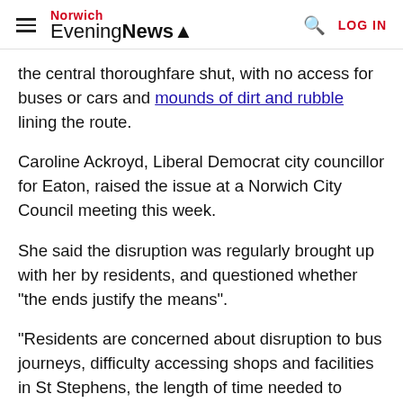Norwich Evening News — LOG IN
the central thoroughfare shut, with no access for buses or cars and mounds of dirt and rubble lining the route.
Caroline Ackroyd, Liberal Democrat city councillor for Eaton, raised the issue at a Norwich City Council meeting this week.
She said the disruption was regularly brought up with her by residents, and questioned whether "the ends justify the means".
"Residents are concerned about disruption to bus journeys, difficulty accessing shops and facilities in St Stephens, the length of time needed to complete the works and, not least, the huge sum of money involved," she added.